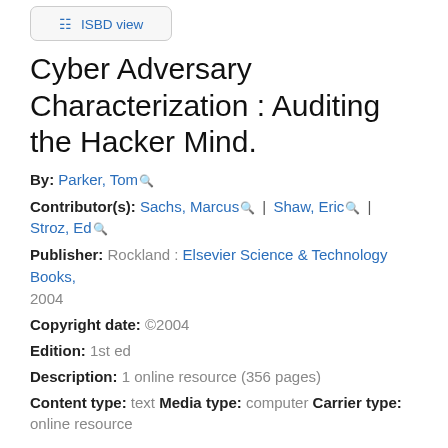[Figure (screenshot): ISBD view button in a rounded rectangle box]
Cyber Adversary Characterization : Auditing the Hacker Mind.
By: Parker, Tom
Contributor(s): Sachs, Marcus | Shaw, Eric | Stroz, Ed
Publisher: Rockland : Elsevier Science & Technology Books, 2004
Copyright date: ©2004
Edition: 1st ed
Description: 1 online resource (356 pages)
Content type: text Media type: computer Carrier type: online resource